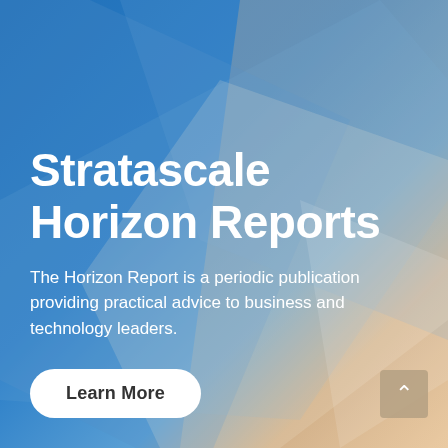[Figure (illustration): Abstract geometric background with blue gradient and overlapping translucent diamond/rhombus shapes, with warm peach/orange tones on the right side suggesting a sunrise or architectural photo underneath.]
Stratascale Horizon Reports
The Horizon Report is a periodic publication providing practical advice to business and technology leaders.